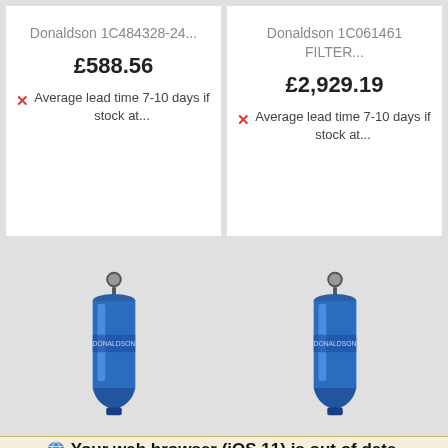Donaldson 1C484328-24...
£588.56
Average lead time 7-10 days if stock at...
Donaldson 1C061461 FILTER...
£2,929.19
Average lead time 7-10 days if stock at...
[Figure (photo): Blue cylindrical industrial air filter with pressure gauge on top, shown against grey background]
[Figure (photo): Blue cylindrical industrial air filter with pressure gauge on top, shown against grey background]
Your web browser (iOS 11) is out of date. Update your browser for more security, speed and the best experience on this site.